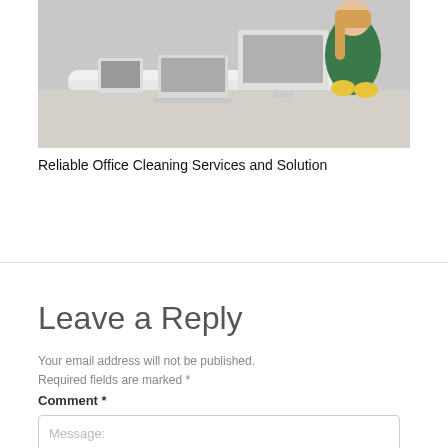[Figure (photo): A woman in a green top and yellow gloves cleaning an office desk with a computer monitor, keyboard, and tablet visible on the white desk.]
Reliable Office Cleaning Services and Solution
Leave a Reply
Your email address will not be published. Required fields are marked *
Comment *